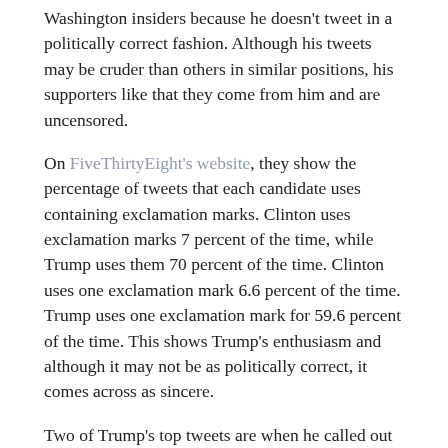Washington insiders because he doesn't tweet in a politically correct fashion. Although his tweets may be cruder than others in similar positions, his supporters like that they come from him and are uncensored.
On FiveThirtyEight's website, they show the percentage of tweets that each candidate uses containing exclamation marks. Clinton uses exclamation marks 7 percent of the time, while Trump uses them 70 percent of the time. Clinton uses one exclamation mark 6.6 percent of the time. Trump uses one exclamation mark for 59.6 percent of the time. This shows Trump's enthusiasm and although it may not be as politically correct, it comes across as sincere.
Two of Trump's top tweets are when he called out Fox News for being biased. He also called Hillary Clinton a hypocrite for favoring gun control while having the Secret Service protect her. Both Fox News and Hillary Clinton are seen as being bad for us, and Trump comes across...